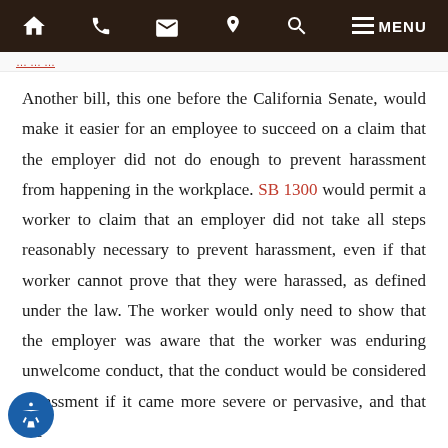MENU (navigation bar with home, phone, email, location, search, menu icons)
Another bill, this one before the California Senate, would make it easier for an employee to succeed on a claim that the employer did not do enough to prevent harassment from happening in the workplace. SB 1300 would permit a worker to claim that an employer did not take all steps reasonably necessary to prevent harassment, even if that worker cannot prove that they were harassed, as defined under the law. The worker would only need to show that the employer was aware that the worker was enduring unwelcome conduct, that the conduct would be considered harassment if it came more severe or pervasive, and that the